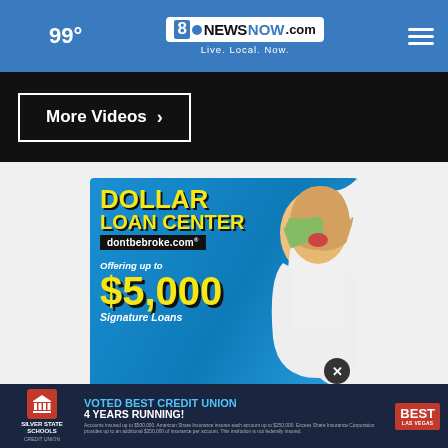99° | 8NewsNow.com | Live. Local. Now.
More Videos ›
[Figure (photo): Dollar Loan Center advertisement featuring a woman holding cash, text reading 'DOLLAR LOAN CENTER dontbebroke.com Offering up to $5,000 Signature Loans']
Silver State Schools Credit Union | VOTED BEST CREDIT UNION 4 YEARS RUNNING! | Accounts insured up to $500,000. American Share Insurance insures each account up to $250,000. Excess Share Insurance Corporation provides up to an additional $250,000 of insurance per account. This institution is not federally insured.